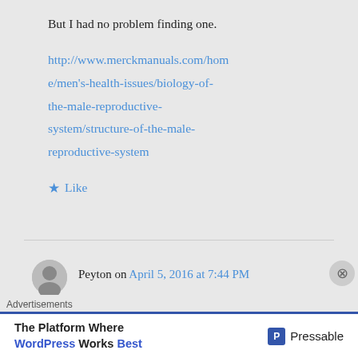But I had no problem finding one.
http://www.merckmanuals.com/home/men's-health-issues/biology-of-the-male-reproductive-system/structure-of-the-male-reproductive-system
★ Like
Peyton on April 5, 2016 at 7:44 PM
Advertisements
The Platform Where WordPress Works Best — Pressable